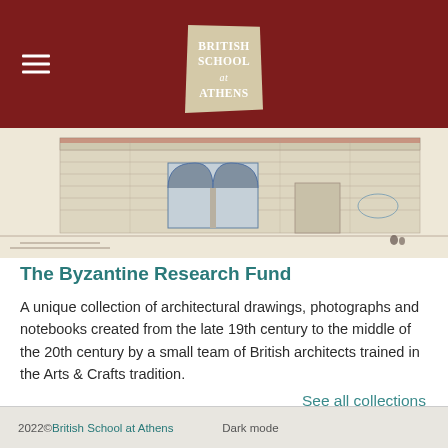British School at Athens
[Figure (illustration): Architectural drawing/sketch of a Byzantine building facade showing stone masonry walls, an arched window with two openings, and a doorway. Light pencil and watercolor style typical of late 19th/early 20th century architectural survey drawings.]
The Byzantine Research Fund
A unique collection of architectural drawings, photographs and notebooks created from the late 19th century to the middle of the 20th century by a small team of British architects trained in the Arts & Crafts tradition.
See all collections
2022© British School at Athens   Dark mode